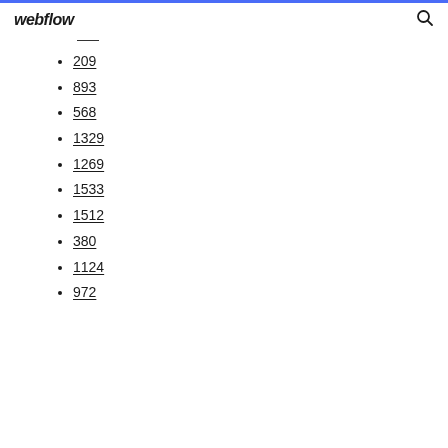webflow
209
893
568
1329
1269
1533
1512
380
1124
972